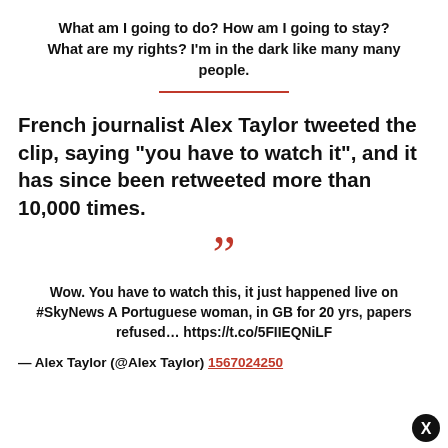What am I going to do? How am I going to stay? What are my rights? I'm in the dark like many many people.
French journalist Alex Taylor tweeted the clip, saying "you have to watch it", and it has since been retweeted more than 10,000 times.
Wow. You have to watch this, it just happened live on #SkyNews A Portuguese woman, in GB for 20 yrs, papers refused… https://t.co/5FIIEQNiLF
— Alex Taylor (@Alex Taylor) 1567024250